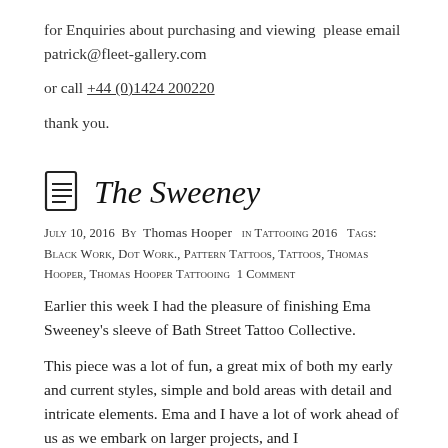for Enquiries about purchasing and viewing  please email patrick@fleet-gallery.com
or call +44 (0)1424 200220
thank you.
The Sweeney
July 10, 2016  By Thomas Hooper  in Tattooing 2016  Tags: black work, dot work., pattern tattoos, Tattoos, thomas hooper, Thomas Hooper Tattooing  1 Comment
Earlier this week I had the pleasure of finishing Ema Sweeney's sleeve of Bath Street Tattoo Collective.
This piece was a lot of fun, a great mix of both my early and current styles, simple and bold areas with detail and intricate elements. Ema and I have a lot of work ahead of us as we embark on larger projects, and I